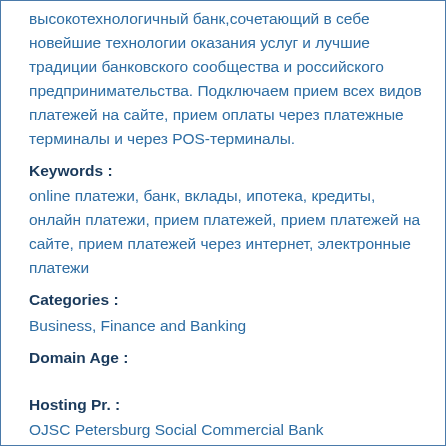высокотехнологичный банк,сочетающий в себе новейшие технологии оказания услуг и лучшие традиции банковского сообщества и российского предпринимательства. Подключаем прием всех видов платежей на сайте, прием оплаты через платежные терминалы и через POS-терминалы.
Keywords :
online платежи, банк, вклады, ипотека, кредиты, онлайн платежи, прием платежей, прием платежей на сайте, прием платежей через интернет, электронные платежи
Categories :
Business, Finance and Banking
Domain Age :
Hosting Pr. :
OJSC Petersburg Social Commercial Bank